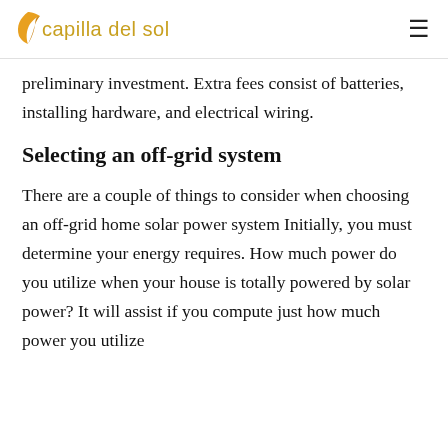capilla del sol
preliminary investment. Extra fees consist of batteries, installing hardware, and electrical wiring.
Selecting an off-grid system
There are a couple of things to consider when choosing an off-grid home solar power system Initially, you must determine your energy requires. How much power do you utilize when your house is totally powered by solar power? It will assist if you compute just how much power you utilize